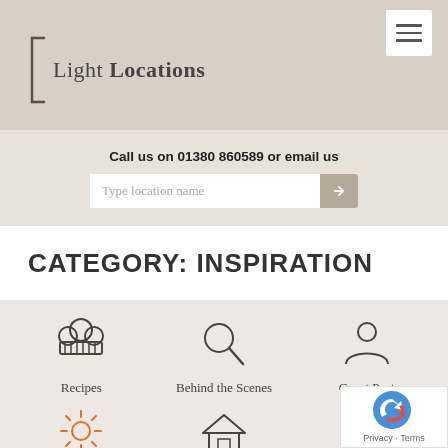[Figure (logo): Light Locations logo with bracket symbol and hamburger menu icon]
Call us on 01380 860589 or email us
Type location name
CATEGORY: INSPIRATION
Recipes
Behind the Scenes
Guest Post